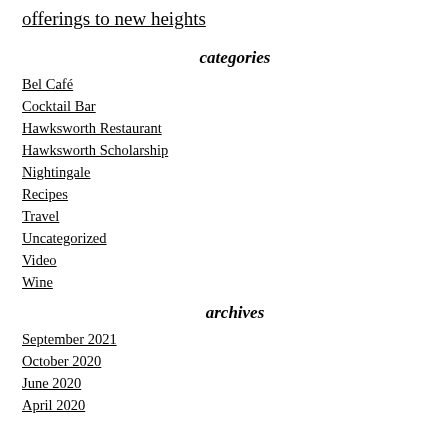offerings to new heights
categories
Bel Café
Cocktail Bar
Hawksworth Restaurant
Hawksworth Scholarship
Nightingale
Recipes
Travel
Uncategorized
Video
Wine
archives
September 2021
October 2020
June 2020
April 2020